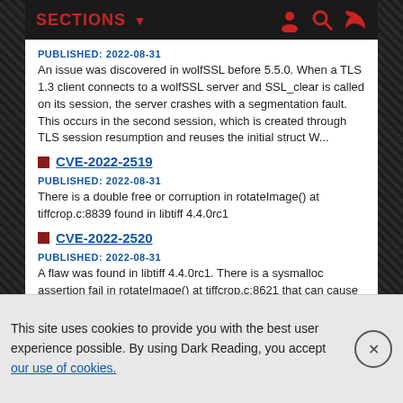SECTIONS ▼
PUBLISHED: 2022-08-31
An issue was discovered in wolfSSL before 5.5.0. When a TLS 1.3 client connects to a wolfSSL server and SSL_clear is called on its session, the server crashes with a segmentation fault. This occurs in the second session, which is created through TLS session resumption and reuses the initial struct W...
CVE-2022-2519
PUBLISHED: 2022-08-31
There is a double free or corruption in rotateImage() at tiffcrop.c:8839 found in libtiff 4.4.0rc1
CVE-2022-2520
PUBLISHED: 2022-08-31
A flaw was found in libtiff 4.4.0rc1. There is a sysmalloc assertion fail in rotateImage() at tiffcrop.c:8621 that can cause program crash when reading a crafted input...
This site uses cookies to provide you with the best user experience possible. By using Dark Reading, you accept our use of cookies.